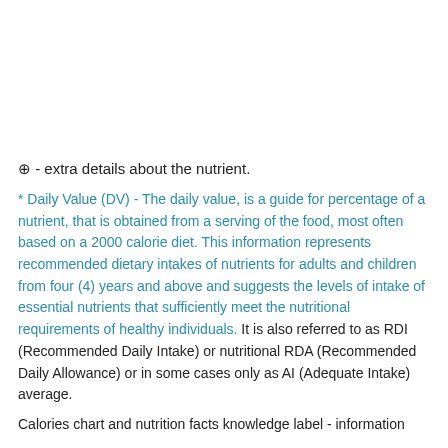⊕ - extra details about the nutrient.
* Daily Value (DV) - The daily value, is a guide for percentage of a nutrient, that is obtained from a serving of the food, most often based on a 2000 calorie diet. This information represents recommended dietary intakes of nutrients for adults and children from four (4) years and above and suggests the levels of intake of essential nutrients that sufficiently meet the nutritional requirements of healthy individuals. It is also referred to as RDI (Recommended Daily Intake) or nutritional RDA (Recommended Daily Allowance) or in some cases only as AI (Adequate Intake) average.
Calories chart and nutrition facts knowledge label - information